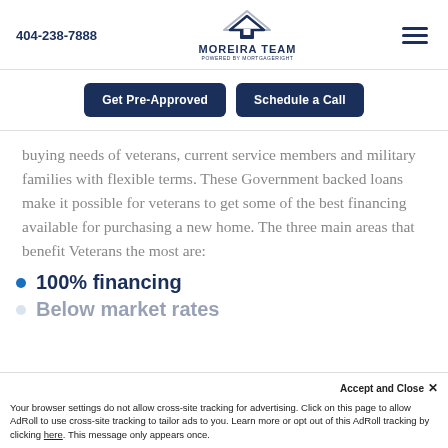404-238-7888 | Moreira Team powered by MortgageRight
Get Pre-Approved | Schedule a Call
buying needs of veterans, current service members and military families with flexible terms. These Government backed loans make it possible for veterans to get some of the best financing available for purchasing a new home. The three main areas that benefit Veterans the most are:
100% financing
Below market rates
Accept and Close × Your browser settings do not allow cross-site tracking for advertising. Click on this page to allow AdRoll to use cross-site tracking to tailor ads to you. Learn more or opt out of this AdRoll tracking by clicking here. This message only appears once.